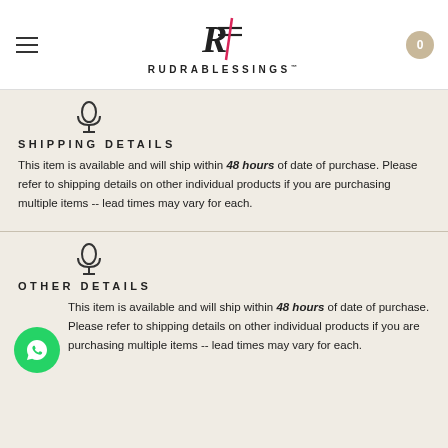RUDRABLESSINGS
[Figure (logo): Microphone/speaker icon for Shipping Details section]
SHIPPING DETAILS
This item is available and will ship within 48 hours of date of purchase. Please refer to shipping details on other individual products if you are purchasing multiple items -- lead times may vary for each.
[Figure (logo): Microphone/speaker icon for Other Details section]
OTHER DETAILS
This item is available and will ship within 48 hours of date of purchase. Please refer to shipping details on other individual products if you are purchasing multiple items -- lead times may vary for each.